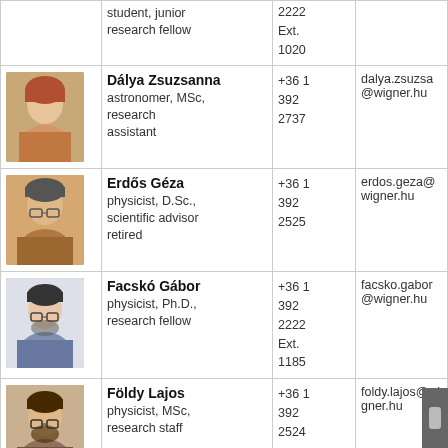| Photo | Name / Role | Phone | Email |
| --- | --- | --- | --- |
| [photo] | student, junior research fellow | 2222
Ext.
1020 |  |
| [photo] | Dálya Zsuzsanna
astronomer, MSc, research assistant | +36 1
392
2737 | dalya.zsuzsa@wigner.hu |
| [photo] | Erdős Géza
physicist, D.Sc., scientific advisor retired | +36 1
392
2525 | erdos.geza@wigner.hu |
| [photo] | Facskó Gábor
physicist, Ph.D., research fellow | +36 1
392
2222
Ext.
1185 | facsko.gabor@wigner.hu |
| [photo] | Földy Lajos
physicist, MSc, research staff | +36 1
392
2524 | foldy.lajos@wigner.hu |
| [photo] | Illyés András
junior research... | +36 1
392
... | illyes.andras@wigner.hu |